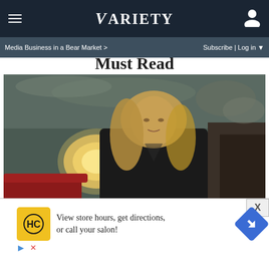Variety
Media Business in a Bear Market >   Subscribe | Log in
Must Read
[Figure (photo): Photo of Olivia Wilde at an ornate venue, wearing a black jacket, long wavy blonde hair, seated with a chandelier and decorative painted ceiling in background]
FILM
Olivia Wilde Toasted at Variety Venice Party to
[Figure (infographic): Advertisement banner: HC logo (yellow background), text 'View store hours, get directions, or call your salon!' with blue navigation arrow icon, play and X icons below]